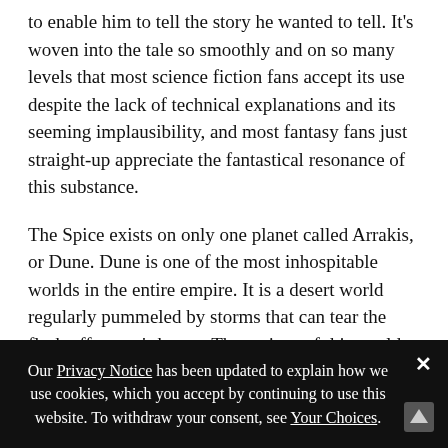to enable him to tell the story he wanted to tell.  It's woven into the tale so smoothly and on so many levels that most science fiction fans accept its use despite the lack of technical explanations and its seeming implausibility, and most fantasy fans just straight-up appreciate the fantastical resonance of this substance.
The Spice exists on only one planet called Arrakis, or Dune.  Dune is one of the most inhospitable worlds in the entire empire.  It is a desert world regularly pummeled by storms that can tear the flesh off a man's bones.  The natives of this world are the Fremen, a hardened people who live in various tribes, or sietches.  Their numbers are vast and they are
Our Privacy Notice has been updated to explain how we use cookies, which you accept by continuing to use this website. To withdraw your consent, see Your Choices.